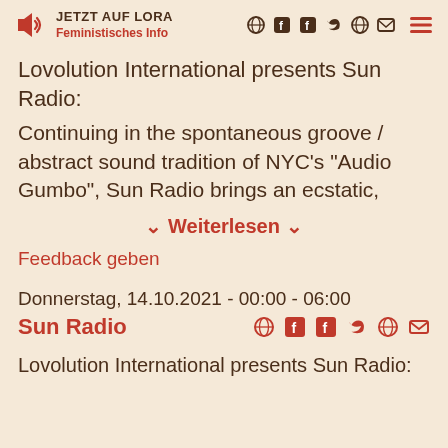JETZT AUF LORA | Feministisches Info
Lovolution International presents Sun Radio:
Continuing in the spontaneous groove / abstract sound tradition of NYC's "Audio Gumbo", Sun Radio brings an ecstatic,
Weiterlesen
Feedback geben
Donnerstag, 14.10.2021 - 00:00 - 06:00
Sun Radio
Lovolution International presents Sun Radio: